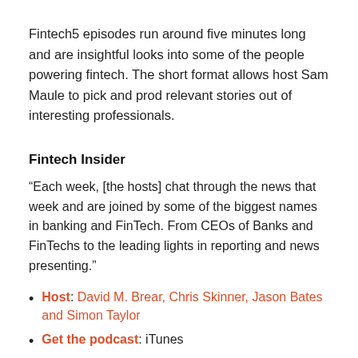Fintech5 episodes run around five minutes long and are insightful looks into some of the people powering fintech. The short format allows host Sam Maule to pick and prod relevant stories out of interesting professionals.
Fintech Insider
“Each week, [the hosts] chat through the news that week and are joined by some of the biggest names in banking and FinTech. From CEOs of Banks and FinTechs to the leading lights in reporting and news presenting.”
Host: David M. Brear, Chris Skinner, Jason Bates and Simon Taylor
Get the podcast: iTunes
Website: 11:FS